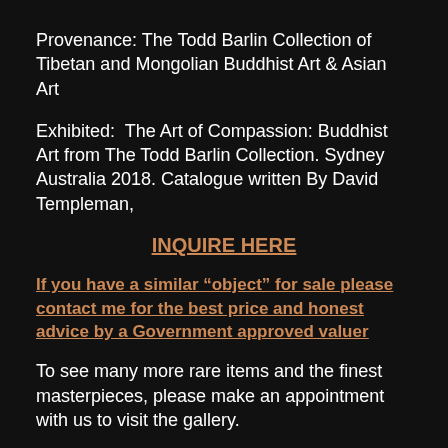Provenance: The Todd Barlin Collection of Tibetan and Mongolian Buddhist Art & Asian Art
Exhibited:  The Art of Compassion: Buddhist Art from The Todd Barlin Collection. Sydney Australia 2018. Catalogue written By David Templeman,
INQUIRE HERE
If you have a similar “object” for sale please contact me for the best price and honest advice by a Government approved valuer
To see many more rare items and the finest masterpieces, please make an appointment with us to visit the gallery.
For all inquiries, please contact us.